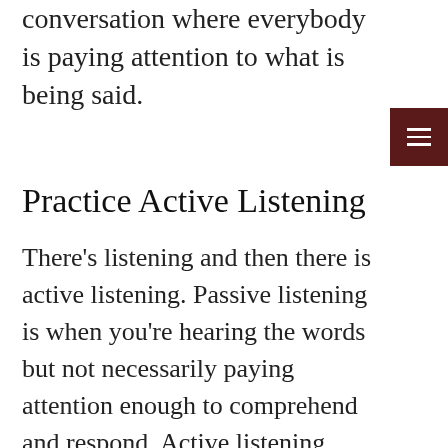conversation where everybody is paying attention to what is being said.
Practice Active Listening
There's listening and then there is active listening. Passive listening is when you're hearing the words but not necessarily paying attention enough to comprehend and respond. Active listening involves absorbing the information with no distractions and truly comprehending and responding to the content. Without active listening, quality time is simply time. Make sure you're engaged in the conversation to maximize your time together.